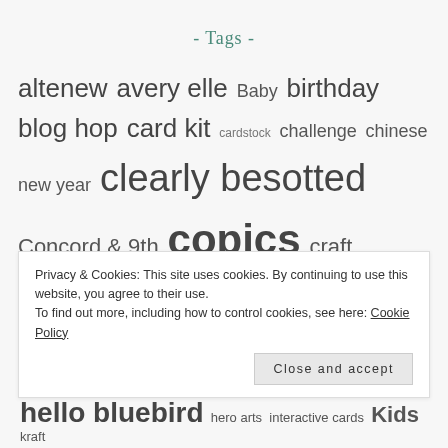- Tags -
altenew avery elle Baby birthday blog hop card kit cardstock challenge chinese new year clearly besotted Concord & 9th copics craft consortium craft room Createasmilestamps deflecto Destash digital stamps distress ink distress oxides Easter embossing Foiling fun hello bluebird hero arts interactive cards Kids kraft
Privacy & Cookies: This site uses cookies. By continuing to use this website, you agree to their use. To find out more, including how to control cookies, see here: Cookie Policy
Close and accept